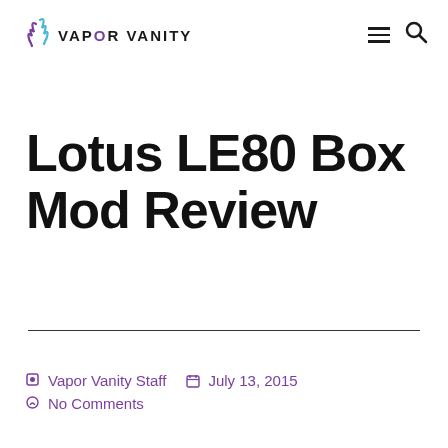VAPOR VANITY
Lotus LE80 Box Mod Review
Vapor Vanity Staff  July 13, 2015  No Comments